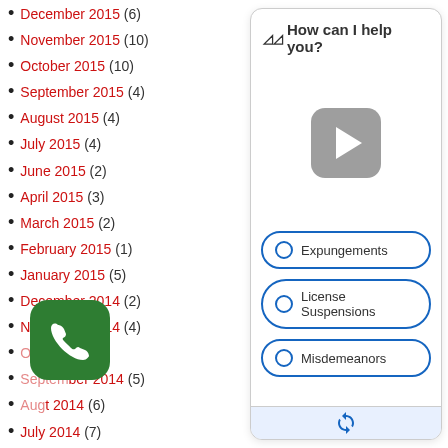December 2015 (6)
November 2015 (10)
October 2015 (10)
September 2015 (4)
August 2015 (4)
July 2015 (4)
June 2015 (2)
April 2015 (3)
March 2015 (2)
February 2015 (1)
January 2015 (5)
December 2014 (2)
November 2014 (4)
October 2014 (4)
September 2014 (5)
August 2014 (6)
July 2014 (7)
June 2014 (1)
May 2014 (4)
April 2014 (2)
March 2014 (4)
[Figure (screenshot): Chat widget with 'How can I help you?' header, a video play button, and three radio button options: Expungements, License Suspensions, Misdemeanors]